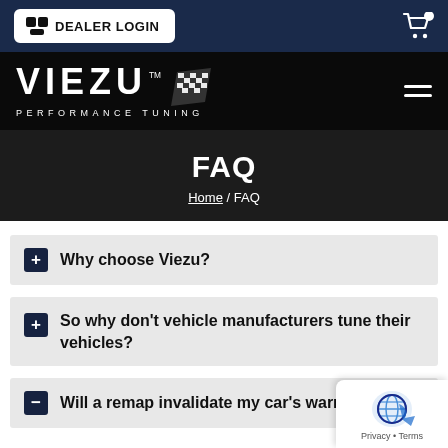DEALER LOGIN
[Figure (logo): Viezu Performance Tuning logo with checkered flag icon]
FAQ
Home / FAQ
Why choose Viezu?
So why don't vehicle manufacturers tune their vehicles?
Will a remap invalidate my car's warranty?